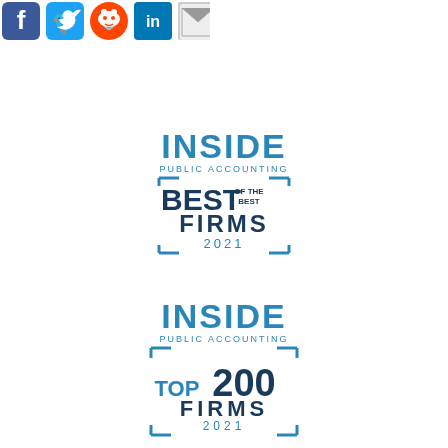[Figure (logo): Social media icons row: Facebook, Twitter, Reddit, Pinterest, LinkedIn, Email]
[Figure (logo): Inside Public Accounting – Best of the Best Firms 2021 badge/logo]
[Figure (logo): Inside Public Accounting – Top 200 Firms 2021 badge/logo]